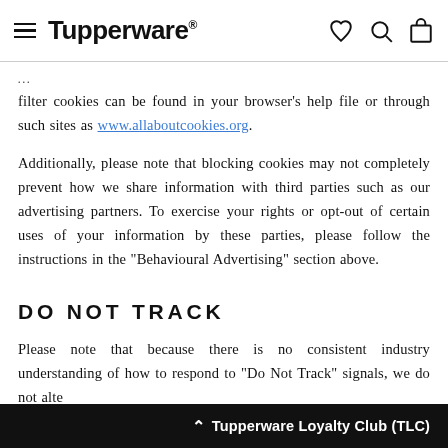Tupperware
filter cookies can be found in your browser's help file or through such sites as www.allaboutcookies.org.
Additionally, please note that blocking cookies may not completely prevent how we share information with third parties such as our advertising partners. To exercise your rights or opt-out of certain uses of your information by these parties, please follow the instructions in the “Behavioural Advertising” section above.
DO NOT TRACK
Please note that because there is no consistent industry understanding of how to respond to “Do Not Track” signals, we do not alte
∧ Tupperware Loyalty Club (TLC)